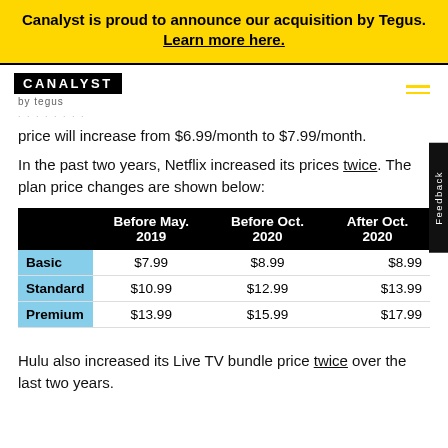Canalyst is proud to announce our acquisition by Tegus. Learn more here.
[Figure (logo): Canalyst by Tegus logo with hamburger menu icon]
price will increase from $6.99/month to $7.99/month.
In the past two years, Netflix increased its prices twice. The plan price changes are shown below:
|  | Before May. 2019 | Before Oct. 2020 | After Oct. 2020 |
| --- | --- | --- | --- |
| Basic | $7.99 | $8.99 | $8.99 |
| Standard | $10.99 | $12.99 | $13.99 |
| Premium | $13.99 | $15.99 | $17.99 |
Hulu also increased its Live TV bundle price twice over the last two years.